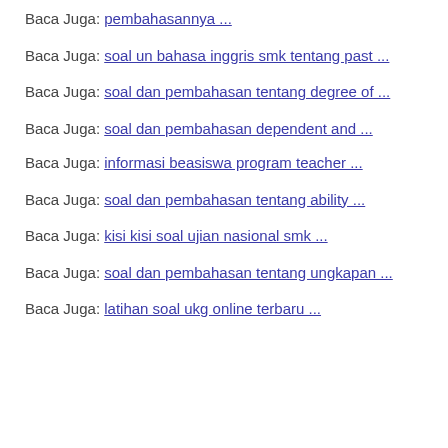Baca Juga: pembahasannya ...
Baca Juga: soal un bahasa inggris smk tentang past ...
Baca Juga: soal dan pembahasan tentang degree of ...
Baca Juga: soal dan pembahasan dependent and ...
Baca Juga: informasi beasiswa program teacher ...
Baca Juga: soal dan pembahasan tentang ability ...
Baca Juga: kisi kisi soal ujian nasional smk ...
Baca Juga: soal dan pembahasan tentang ungkapan ...
Baca Juga: latihan soal ukg online terbaru ...